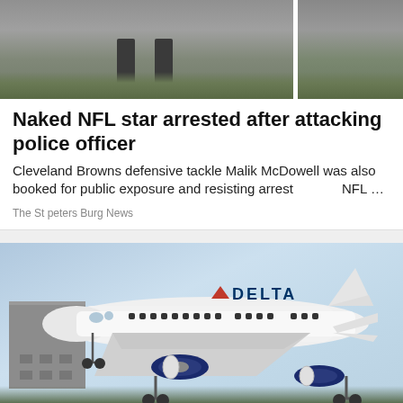[Figure (photo): Top portion of a news app showing a partial image of a person's legs/boots on grass, cropped at top of page]
Naked NFL star arrested after attacking police officer
Cleveland Browns defensive tackle Malik McDowell was also booked for public exposure and resisting arrest        NFL …
The St peters Burg News
[Figure (photo): Delta Airlines aircraft on approach to landing, with landing gear down. White plane with blue engine nacelles and Delta logo visible. Urban background with building and trees below.]